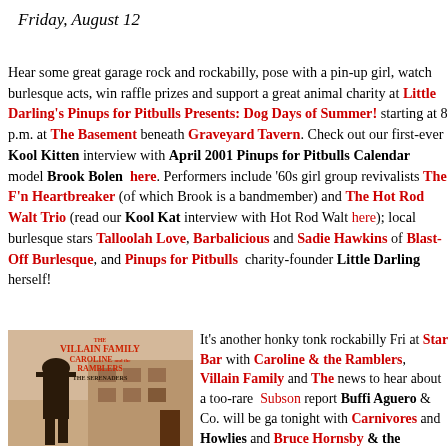Friday, August 12
Hear some great garage rock and rockabilly, pose with a pin-up girl, watch burlesque acts, win raffle prizes and support a great animal charity at Little Darling's Pinups for Pitbulls Presents: Dog Days of Summer! starting at 8 p.m. at The Basement beneath Graveyard Tavern. Check out our first-ever Kool Kitten interview with April 2001 Pinups for Pitbulls Calendar model Brook Bolen here. Performers include '60s girl group revivalists The F'n Heartbreakers (of which Brook is a bandmember) and The Hot Rod Walt Trio (read our Kool Kat interview with Hot Rod Walt here); local burlesque stars Talloolah Love, Barbalicious and Sadie Hawkins of Blast-Off Burlesque, and Pinups for Pitbulls charity-founder Little Darling herself!
[Figure (illustration): Concert poster for The Villain Family, Caroline and the Ramblers, The Serenaders — vintage style illustration with a figure in a hat in front of a building]
It's another honky tonk rockabilly Friday at Star Bar with Caroline & the Ramblers, Villain Family and The ... news to hear about a too-rare Subson... report Buffi Aguero & Co. will be ga... tonight with Carnivores and Howlies... and Bruce Hornsby & the Noisema... to jazz, earthy blues and a little rock m... ...The P...L...K...t...C...